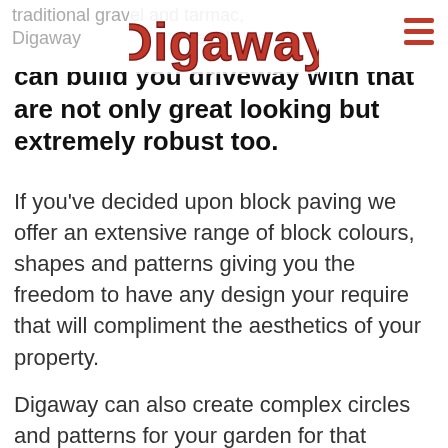traditional gravel and tarmac, Digaway [logo] materials we [menu]
can build you driveway with that are not only great looking but extremely robust too.
If you've decided upon block paving we offer an extensive range of block colours, shapes and patterns giving you the freedom to have any design your require that will compliment the aesthetics of your property.
Digaway can also create complex circles and patterns for your garden for that